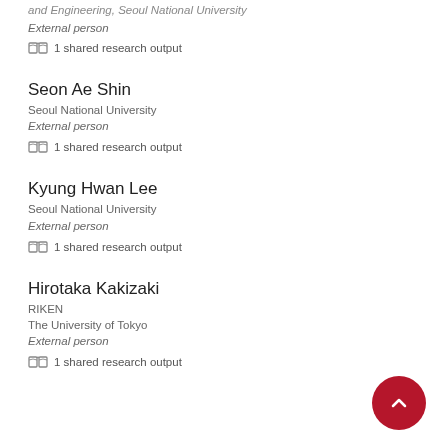and Engineering, Seoul National University
External person
1 shared research output
Seon Ae Shin
Seoul National University
External person
1 shared research output
Kyung Hwan Lee
Seoul National University
External person
1 shared research output
Hirotaka Kakizaki
RIKEN
The University of Tokyo
External person
1 shared research output